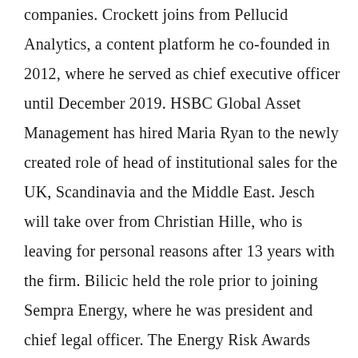companies. Crockett joins from Pellucid Analytics, a content platform he co-founded in 2012, where he served as chief executive officer until December 2019. HSBC Global Asset Management has hired Maria Ryan to the newly created role of head of institutional sales for the UK, Scandinavia and the Middle East. Jesch will take over from Christian Hille, who is leaving for personal reasons after 13 years with the firm. Bilicic held the role prior to joining Sempra Energy, where he was president and chief legal officer. The Energy Risk Awards recognise the leading firms in energy risk management. Davies was previously head of client services in HSBC's trustee and depositary services. HarbourVest Partners, a global